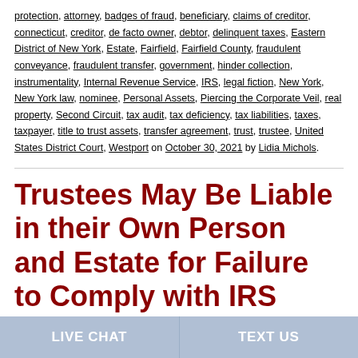protection, attorney, badges of fraud, beneficiary, claims of creditor, connecticut, creditor, de facto owner, debtor, delinquent taxes, Eastern District of New York, Estate, Fairfield, Fairfield County, fraudulent conveyance, fraudulent transfer, government, hinder collection, instrumentality, Internal Revenue Service, IRS, legal fiction, New York, New York law, nominee, Personal Assets, Piercing the Corporate Veil, real property, Second Circuit, tax audit, tax deficiency, tax liabilities, taxes, taxpayer, title to trust assets, transfer agreement, trust, trustee, United States District Court, Westport on October 30, 2021 by Lidia Michols.
Trustees May Be Liable in their Own Person and Estate for Failure to Comply with IRS Notices
LIVE CHAT | TEXT US